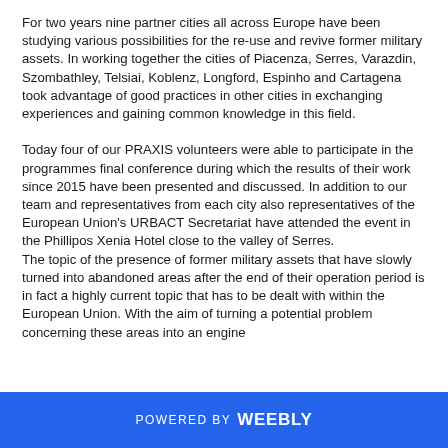For two years nine partner cities all across Europe have been studying various possibilities for the re-use and revive former military assets. In working together the cities of Piacenza, Serres, Varazdin, Szombathley, Telsiai, Koblenz, Longford, Espinho and Cartagena took advantage of good practices in other cities in exchanging experiences and gaining common knowledge in this field.
Today four of our PRAXIS volunteers were able to participate in the programmes final conference during which the results of their work since 2015 have been presented and discussed. In addition to our team and representatives from each city also representatives of the European Union's URBACT Secretariat have attended the event in the Phillipos Xenia Hotel close to the valley of Serres. The topic of the presence of former military assets that have slowly turned into abandoned areas after the end of their operation period is in fact a highly current topic that has to be dealt with within the European Union. With the aim of turning a potential problem concerning these areas into an engine...
POWERED BY weebly